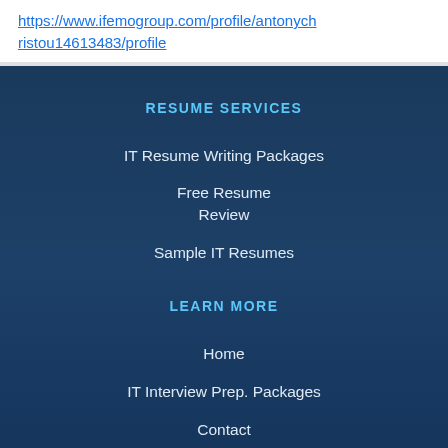https://www.ifemogroup.com/profile/antonychristou14613483/profile
RESUME SERVICES
IT Resume Writing Packages
Free Resume Review
Sample IT Resumes
LEARN MORE
Home
IT Interview Prep. Packages
Contact
About
Our Process
Blog